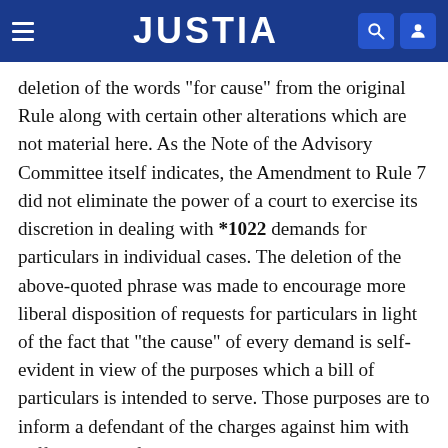JUSTIA
deletion of the words "for cause" from the original Rule along with certain other alterations which are not material here. As the Note of the Advisory Committee itself indicates, the Amendment to Rule 7 did not eliminate the power of a court to exercise its discretion in dealing with *1022 demands for particulars in individual cases. The deletion of the above-quoted phrase was made to encourage more liberal disposition of requests for particulars in light of the fact that "the cause" of every demand is self-evident in view of the purposes which a bill of particulars is intended to serve. Those purposes are to inform a defendant of the charges against him with sufficient specificity to allow adequate trial preparation, to minimize the danger of surprise at the time of trial, and to enable a defendant to plead acquittal or conviction as a bar to subsequent prosecution. Rule 7(f) in its amended form does not